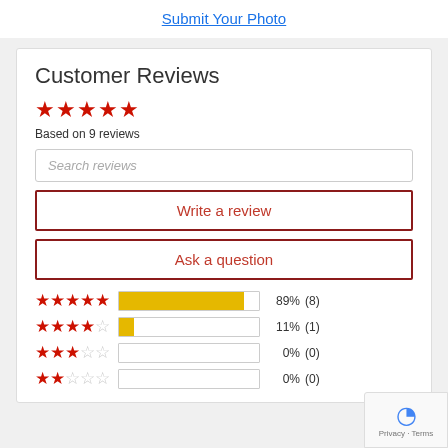Submit Your Photo
Customer Reviews
★★★★★ Based on 9 reviews
Search reviews
Write a review
Ask a question
[Figure (bar-chart): Rating distribution]